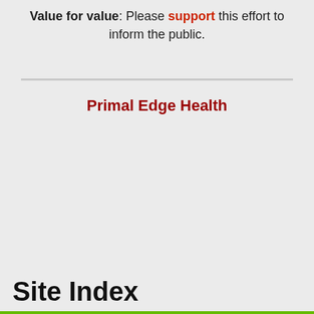Value for value: Please support this effort to inform the public.
Primal Edge Health
Site Index